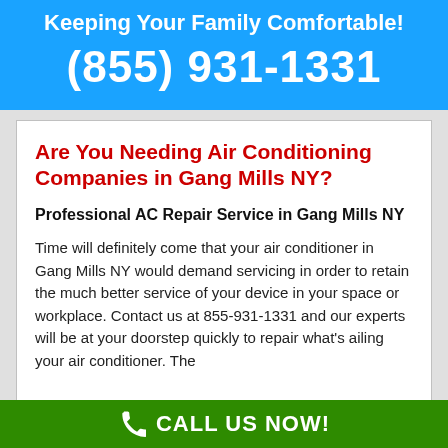Keeping Your Family Comfortable!
(855) 931-1331
Are You Needing Air Conditioning Companies in Gang Mills NY?
Professional AC Repair Service in Gang Mills NY
Time will definitely come that your air conditioner in Gang Mills NY would demand servicing in order to retain the much better service of your device in your space or workplace. Contact us at 855-931-1331 and our experts will be at your doorstep quickly to repair what's ailing your air conditioner. The
CALL US NOW!